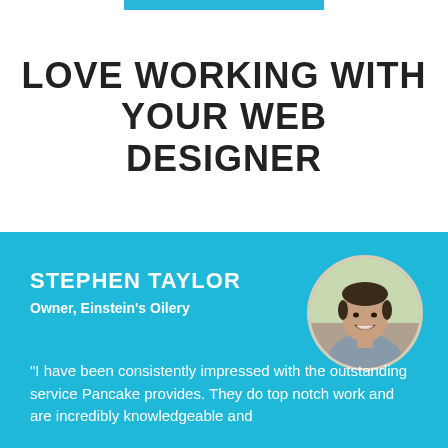LOVE WORKING WITH YOUR WEB DESIGNER
STEPHEN TAYLOR
Owner, Einstein's Oilery
[Figure (photo): Circular portrait photo of Stephen Taylor, a man smiling, dark hair, outdoors background]
"I have been consistently impressed with the outstanding service Pancake provides. They do top notch work and are incredibly knowledgeable and